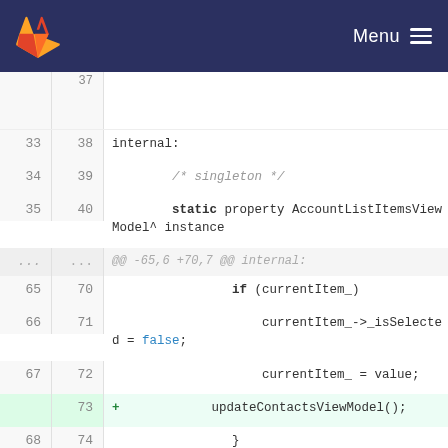GitLab · Menu
[Figure (screenshot): GitLab code diff view showing a code file with line numbers. Lines 33-76 (old) and 38-82 (new) are visible. A new line 73 with updateContactsViewModel(); is highlighted in green as an addition. Code includes C++ snippet with static property, if (currentItem_), currentItem_->_isSelected = false;, currentItem_ = value;, updateContactsViewModel();, void OnaccountAdded(RingClientUWP::Account ^account); and hunk headers.]